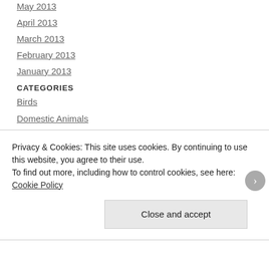May 2013
April 2013
March 2013
February 2013
January 2013
CATEGORIES
Birds
Domestic Animals
Flowers
Landscapes
Privacy & Cookies: This site uses cookies. By continuing to use this website, you agree to their use.
To find out more, including how to control cookies, see here: Cookie Policy
Close and accept